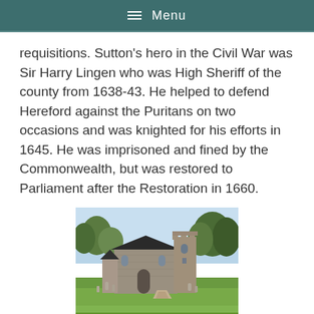Menu
requisitions. Sutton's hero in the Civil War was Sir Harry Lingen who was High Sheriff of the county from 1638-43. He helped to defend Hereford against the Puritans on two occasions and was knighted for his efforts in 1645. He was imprisoned and fined by the Commonwealth, but was restored to Parliament after the Restoration in 1660.
[Figure (photo): A stone church building with a tower, surrounded by trees and gravestones on a sunny day, with a path leading to the entrance.]